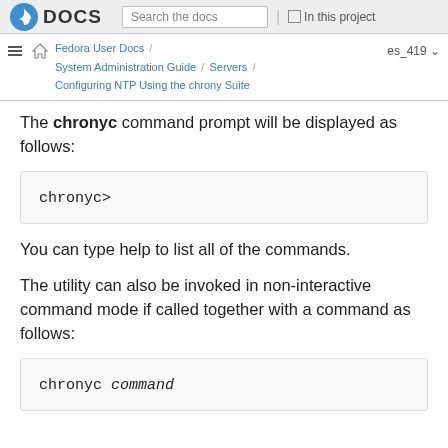Fedora DOCS | Search the docs | In this project | Fedora User Docs / System Administration Guide / Servers / Configuring NTP Using the chrony Suite | es_419
The chronyc command prompt will be displayed as follows:
chronyc>
You can type help to list all of the commands.
The utility can also be invoked in non-interactive command mode if called together with a command as follows:
chronyc command